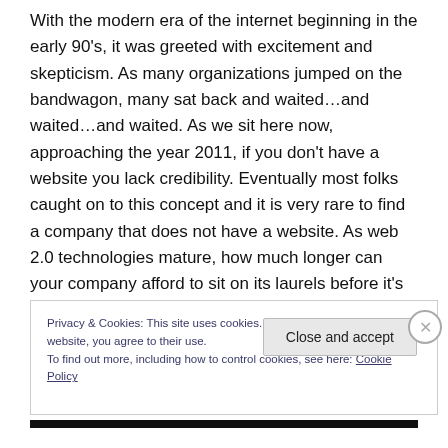With the modern era of the internet beginning in the early 90's, it was greeted with excitement and skepticism. As many organizations jumped on the bandwagon, many sat back and waited…and waited…and waited. As we sit here now, approaching the year 2011, if you don't have a website you lack credibility. Eventually most folks caught on to this concept and it is very rare to find a company that does not have a website. As web 2.0 technologies mature, how much longer can your company afford to sit on its laurels before it's too late?
Privacy & Cookies: This site uses cookies. By continuing to use this website, you agree to their use.
To find out more, including how to control cookies, see here: Cookie Policy
Close and accept